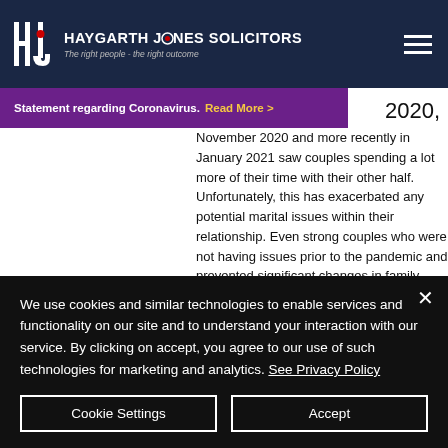[Figure (logo): Haygarth Jones Solicitors logo on dark navy header bar with tagline 'The right people - the right outcome' and hamburger menu icon]
s, but d health
Statement regarding Coronavirus. Read More > 2020,
November 2020 and more recently in January 2021 saw couples spending a lot more of their time with their other half. Unfortunately, this has exacerbated any potential marital issues within their relationship. Even strong couples who were not having issues prior to the pandemic and prevented significant changes in family dynamics could be at risk of
We use cookies and similar technologies to enable services and functionality on our site and to understand your interaction with our service. By clicking on accept, you agree to our use of such technologies for marketing and analytics. See Privacy Policy
Cookie Settings
Accept